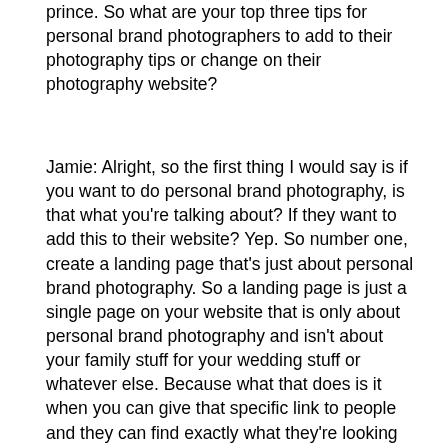prince. So what are your top three tips for personal brand photographers to add to their photography tips or change on their photography website?
Jamie: Alright, so the first thing I would say is if you want to do personal brand photography, is that what you're talking about? If they want to add this to their website? Yep. So number one, create a landing page that's just about personal brand photography. So a landing page is just a single page on your website that is only about personal brand photography and isn't about your family stuff for your wedding stuff or whatever else. Because what that does is it when you can give that specific link to people and they can find exactly what they're looking for. So if you find an entrepreneur influencer who would be your perfect ideal client who wants to work with you instead of sending to them to your family site, which is gonna, make him go, man, I don't need family images like your newborn images are beautiful, but it's not that they don't, they don't have to see that right away.